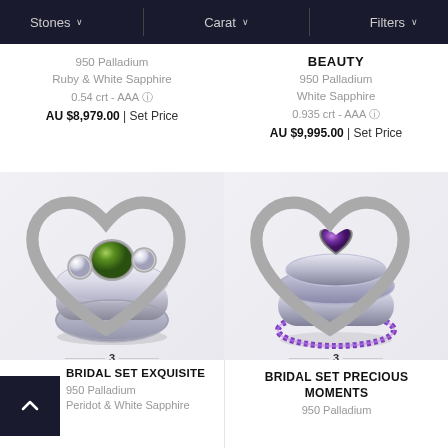Stones ∨   Carat ∨   Filters ∨
950 Palladium
Ruby & White Sapphire
0.54 crt - AAA
AU $8,979.00 | Set Price
[Figure (photo): Bridal ring set with green peridot center stone flanked by white sapphires on silver band]
BEAUTY
950 Palladium
White Sapphire
0.935 crt - AAA
AU $9,995.00 | Set Price
[Figure (photo): Bridal ring set with purple amethyst heart stone on silver band with purple accent stones]
BRIDAL SET EXQUISITE
950 Palladium
Peridot & White Sapphire
BRIDAL SET PRECIOUS MOMENTS
950 Palladium